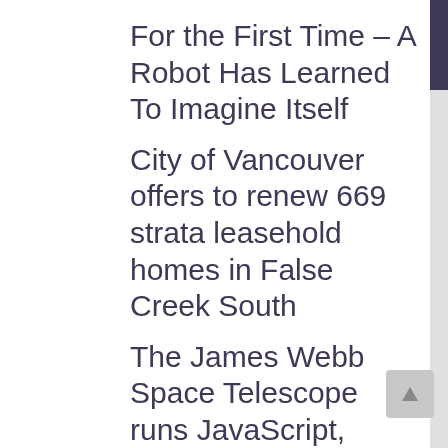For the First Time – A Robot Has Learned To Imagine Itself
City of Vancouver offers to renew 669 strata leasehold homes in False Creek South
The James Webb Space Telescope runs JavaScript, apparently
The World Brain: H.G. Wells's Prophetic 1930s Vision for the Internet and